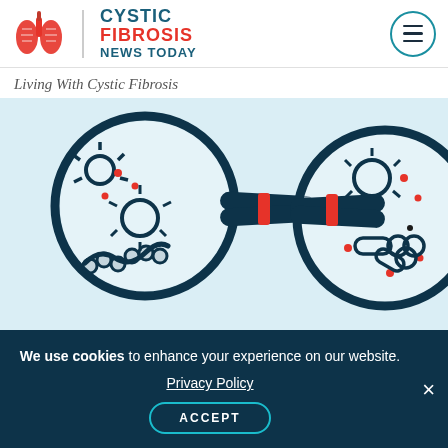Cystic Fibrosis News Today
Living With Cystic Fibrosis
[Figure (illustration): Two magnifying glasses showing microscopic bacteria and virus illustrations on a light blue background, representing microbial examination related to cystic fibrosis]
We use cookies to enhance your experience on our website. Privacy Policy ACCEPT